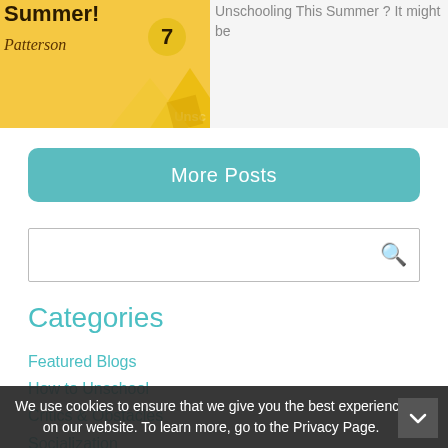[Figure (screenshot): Thumbnail image with yellow background showing 'summer!' text, cursive signature 'Patterson', number 7 in circle, and 'Unsc' label with geometric shapes]
Unschooling This Summer ? It might be
More Posts
Categories
Featured Blogs
How to Unschool
Critics & Obstacles
Socialization
Math
Reading
Teens
Little Unschoolers
Deschooling
Technology
We use cookies to ensure that we give you the best experience on our website. To learn more, go to the Privacy Page.